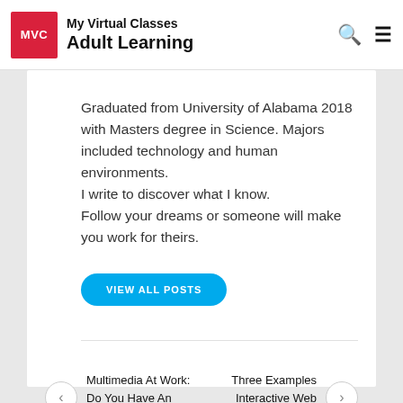My Virtual Classes Adult Learning
Graduated from University of Alabama 2018 with Masters degree in Science. Majors included technology and human environments.
I write to discover what I know.
Follow your dreams or someone will make you work for theirs.
VIEW ALL POSTS
Multimedia At Work: Do You Have An Eportfolio?
Three Examples Interactive Web Presentation read